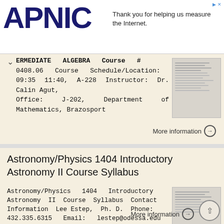[Figure (logo): APNIC logo in dark navy blue large bold text]
Thank you for helping us measure the Internet.
ERMEDIATE ALGEBRA Course # 0408.06 Course Schedule/Location: TT 09:35 11:40, A-228 Instructor: Dr. Calin Agut, Office: J-202, Department of Mathematics, Brazosport
More information →
Astronomy/Physics 1404 Introductory Astronomy II Course Syllabus
Astronomy/Physics 1404 Introductory Astronomy II Course Syllabus Contact Information Lee Estep, Ph. D. Phone: 432.335.6315 Email: lestep@odessa.edu Office: WH 219 Office Hours: (Tentative) MWF: 9AM 10AM;
More information →